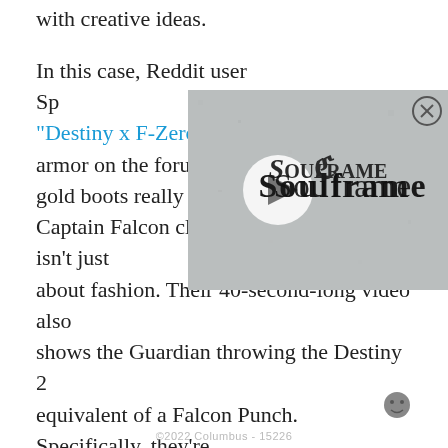with creative ideas.
In this case, Reddit user Sp... "Destiny x F-Zero collab," aka... armor on the forum. The re... gold boots really do come to... Captain Falcon clone, but Sparkson's post isn't just about fashion. Their 40-second-long video also shows the Guardian throwing the Destiny 2 equivalent of a Falcon Punch. Specifically, they're using an Arc 3.0 Titan, which throws powerful energy-charged punches at enemies and other players. The only thing that's missing is F-Zero racing music in the background.
[Figure (logo): Soulframe game logo overlay image - medieval styled text reading 'Soulframe' on a textured stone/parchment background with a play button icon]
©2022 Columbus - 15226